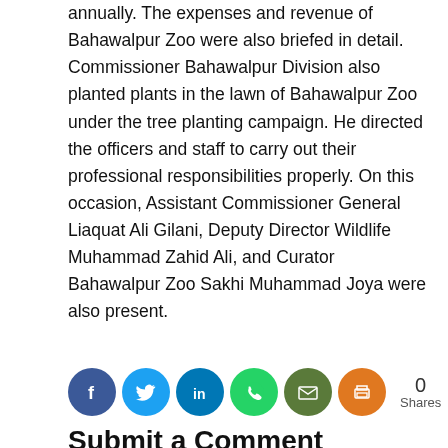annually. The expenses and revenue of Bahawalpur Zoo were also briefed in detail. Commissioner Bahawalpur Division also planted plants in the lawn of Bahawalpur Zoo under the tree planting campaign. He directed the officers and staff to carry out their professional responsibilities properly. On this occasion, Assistant Commissioner General Liaquat Ali Gilani, Deputy Director Wildlife Muhammad Zahid Ali, and Curator Bahawalpur Zoo Sakhi Muhammad Joya were also present.
[Figure (infographic): Social share buttons: Facebook (blue), Twitter (light blue), LinkedIn (blue), WhatsApp (green), Email (dark green), Print (orange), with share count of 0 Shares]
Submit a Comment